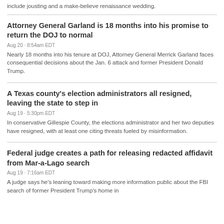include jousting and a make-believe renaissance wedding.
Attorney General Garland is 18 months into his promise to return the DOJ to normal
Aug 20 · 8:54am EDT
Nearly 18 months into his tenure at DOJ, Attorney General Merrick Garland faces consequential decisions about the Jan. 6 attack and former President Donald Trump.
A Texas county's election administrators all resigned, leaving the state to step in
Aug 19 · 5:30pm EDT
In conservative Gillespie County, the elections administrator and her two deputies have resigned, with at least one citing threats fueled by misinformation.
Federal judge creates a path for releasing redacted affidavit from Mar-a-Lago search
Aug 19 · 7:16am EDT
A judge says he's leaning toward making more information public about the FBI search of former President Trump's home in